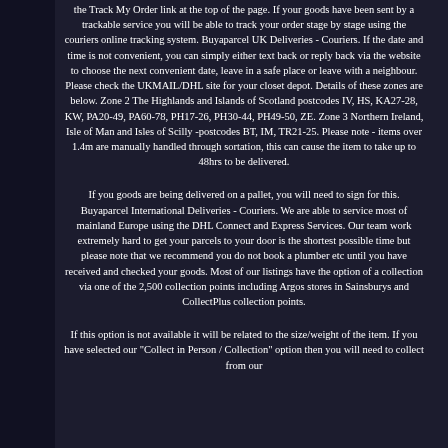the Track My Order link at the top of the page. If your goods have been sent by a trackable service you will be able to track your order stage by stage using the couriers online tracking system. Buyaparcel UK Deliveries - Couriers. If the date and time is not convenient, you can simply either text back or reply back via the website to choose the next convenient date, leave in a safe place or leave with a neighbour. Please check the UKMAIL/DHL site for your closet depot. Details of these zones are below. Zone 2 The Highlands and Islands of Scotland postcodes IV, HS, KA27-28, KW, PA20-49, PA60-78, PH17-26, PH30-44, PH49-50, ZE. Zone 3 Northern Ireland, Isle of Man and Isles of Scilly -postcodes BT, IM, TR21-25. Please note - items over 1.4m are manually handled through sortation, this can cause the item to take up to 48hrs to be delivered.
If you goods are being delivered on a pallet, you will need to sign for this. Buyaparcel International Deliveries - Couriers. We are able to service most of mainland Europe using the DHL Connect and Express Services. Our team work extremely hard to get your parcels to your door is the shortest possible time but please note that we recommend you do not book a plumber etc until you have received and checked your goods. Most of our listings have the option of a collection via one of the 2,500 collection points including Argos stores in Sainsburys and CollectPlus collection points.
If this option is not available it will be related to the size/weight of the item. If you have selected our "Collect in Person / Collection" option then you will need to collect from our